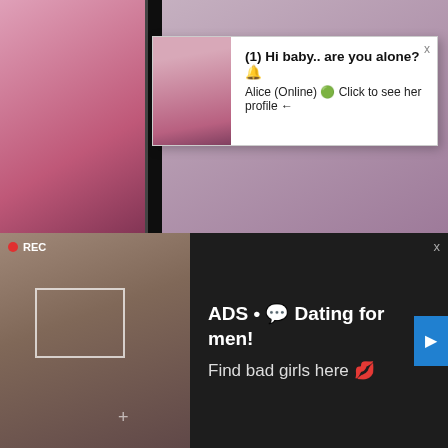[Figure (screenshot): Background grid of anime video thumbnails and streaming content]
[Figure (screenshot): White popup notification: (1) Hi baby.. are you alone? Alice (Online) Click to see her profile, with female photo thumbnail]
Sub Indor
87%
[Figure (screenshot): Second white popup notification: (1) Hi baby.. are you alone? Alice (Online) Click to see her profile, with ADS label]
[Figure (screenshot): Pink notification bar: Jeniffer_2000 (00:12) with LIVE green badge]
Japan
97%
[Figure (screenshot): Dark ad popup with REC video thumbnail and text: ADS • Dating for men! Find bad girls here]